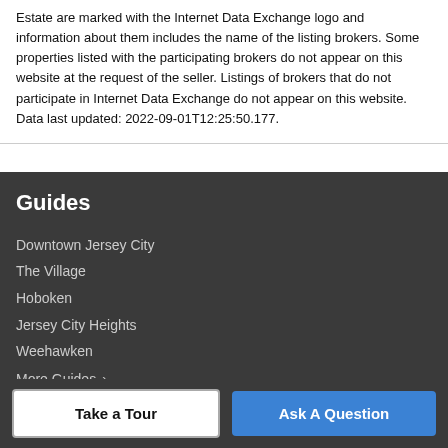Estate are marked with the Internet Data Exchange logo and information about them includes the name of the listing brokers. Some properties listed with the participating brokers do not appear on this website at the request of the seller. Listings of brokers that do not participate in Internet Data Exchange do not appear on this website. Data last updated: 2022-09-01T12:25:50.177.
Guides
Downtown Jersey City
The Village
Hoboken
Jersey City Heights
Weehawken
More Guides ›
Company